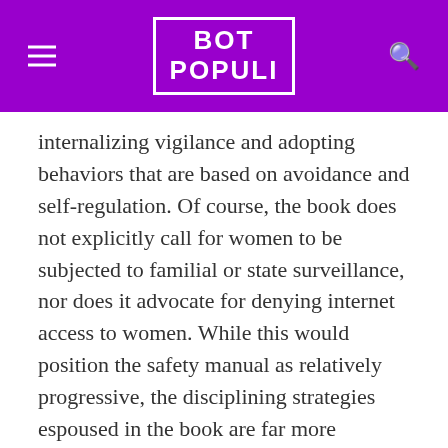BOT POPULI
internalizing vigilance and adopting behaviors that are based on avoidance and self-regulation. Of course, the book does not explicitly call for women to be subjected to familial or state surveillance, nor does it advocate for denying internet access to women. While this would position the safety manual as relatively progressive, the disciplining strategies espoused in the book are far more insidious as they attempt to place the blame squarely on women for inhabiting online spaces and using digital technologies. As such, the book reinforces the biases held by police